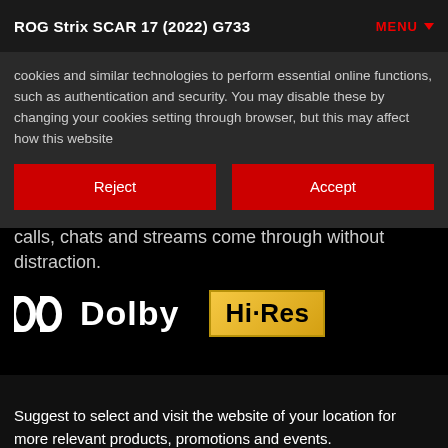ROG Strix SCAR 17 (2022) G733    MENU ▼
cookies and similar technologies to perform essential online functions, such as authentication and security. You may disable these by changing your cookies setting through browser, but this may affect how this website
Reject
Accept
calls, chats and streams come through without distraction.
[Figure (logo): Dolby logo with two interlocked D symbols and the word Dolby in white]
[Figure (logo): Hi-Res audio logo with gold/yellow gradient background and black text reading Hi·Res]
Suggest to select and visit the website of your location for more relevant products, promotions and events.
Stay here
Switch the website of your location